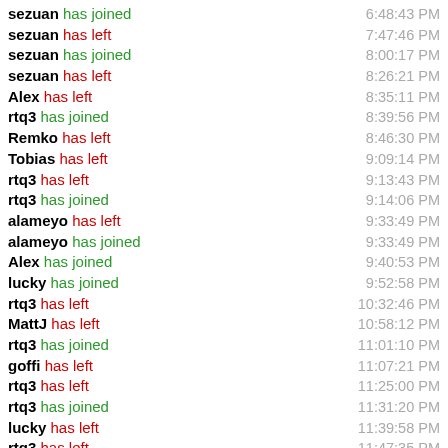sezuan has joined  6:48:43 PM
sezuan has left  7:47:46 PM
sezuan has joined  8:00:17 PM
sezuan has left  8:26:21 PM
Alex has left  8:35:11 PM
rtq3 has joined  8:39:56 PM
Remko has left  8:46:30 PM
Tobias has left  9:09:14 PM
rtq3 has left  9:13:43 PM
rtq3 has joined  9:14:06 PM
alameyo has left  9:33:49 PM
alameyo has joined  9:33:49 PM
Alex has joined  9:40:53 PM
lucky has joined  9:52:58 PM
rtq3 has left  10:32:46 PM
MattJ has left  10:58:12 PM
rtq3 has joined  11:01:10 PM
goffi has left  11:07:21 PM
rtq3 has left  11:25:00 PM
rtq3 has joined  11:31:20 PM
lucky has left  11:39:58 PM
rtq3 has left  11:47:35 PM
lucky has joined  11:58:47 PM